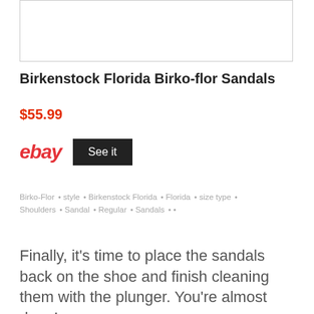[Figure (photo): Product image placeholder box (empty white box with border)]
Birkenstock Florida Birko-flor Sandals
$55.99
[Figure (logo): eBay logo in red italic text followed by a black 'See it' button]
Birko-Flor • style • Birkenstock Florida • Florida • size type • Shoulders • Sandal • Regular • Sandals • •
Finally, it's time to place the sandals back on the shoe and finish cleaning them with the plunger. You're almost done!
When it comes to taking care of your